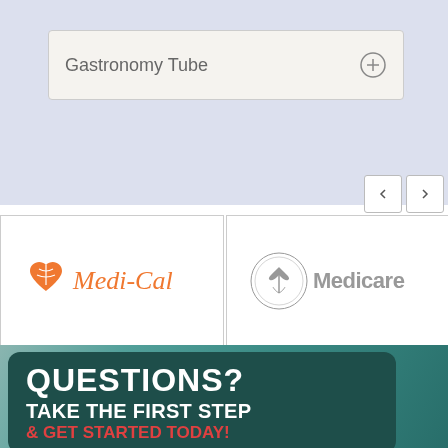Gastronomy Tube
[Figure (logo): Medi-Cal logo with orange heart/leaf icon and orange italic text]
[Figure (logo): Medicare logo with HHS eagle seal and gray text]
QUESTIONS?
TAKE THE FIRST STEP
& GET STARTED TODAY!